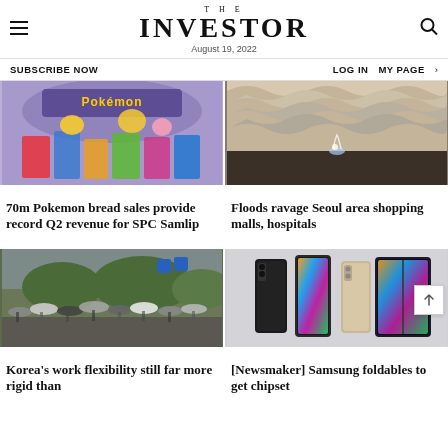THE INVESTOR — August 19, 2022
SUBSCRIBE NOW    LOG IN    MY PAGE
[Figure (photo): Pokemon bread products with Pokemon characters on a purple background]
70m Pokemon bread sales provide record Q2 revenue for SPC Samlip
[Figure (photo): Interior of a shopping mall or building with wavy ceiling and water flooding]
Floods ravage Seoul area shopping malls, hospitals
[Figure (photo): Crowd of people with umbrellas crossing a street in Seoul on a rainy day]
Korea's work flexibility still far more rigid than
[Figure (photo): Samsung Galaxy Z Fold foldable smartphones displayed together]
[Newsmaker] Samsung foldables to get chipset